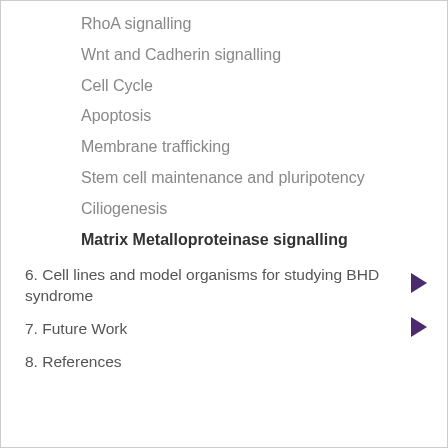RhoA signalling
Wnt and Cadherin signalling
Cell Cycle
Apoptosis
Membrane trafficking
Stem cell maintenance and pluripotency
Ciliogenesis
Matrix Metalloproteinase signalling
6. Cell lines and model organisms for studying BHD syndrome
7. Future Work
8. References